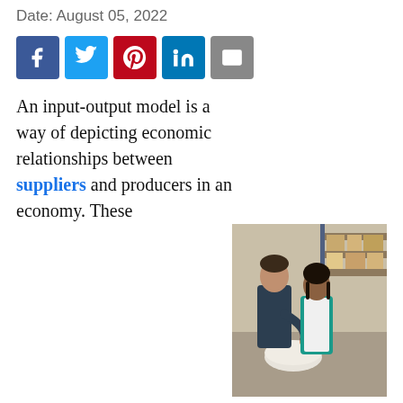Date: August 05, 2022
[Figure (infographic): Row of social media share buttons: Facebook (blue), Twitter (light blue), Pinterest (red), LinkedIn (blue), Email (gray)]
An input-output model is a way of depicting economic relationships between suppliers and producers in an economy. These models can be used for a number of purposes, including prediction of the profitability of an industry and analysis of the effects of changes in the economy. Both national and regional governments have used input-output models
[Figure (photo): Two people in a warehouse setting, a man in a dark blue shirt and a woman in a teal vest, examining a product together. Shelves with boxes visible in background.]